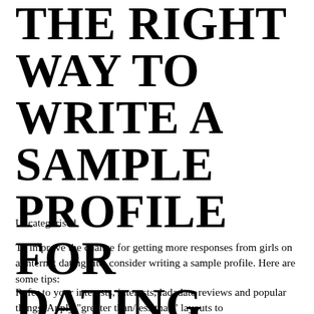THE RIGHT WAY TO WRITE A SAMPLE PROFILE FOR DATING SITES
Uncategorised
To improve the chance for getting more responses from girls on a internet dating site, consider writing a sample profile. Here are some tips:
Refer to your interests, interests, ladadate reviews and popular things. Apply "greater than/less than" layouts to